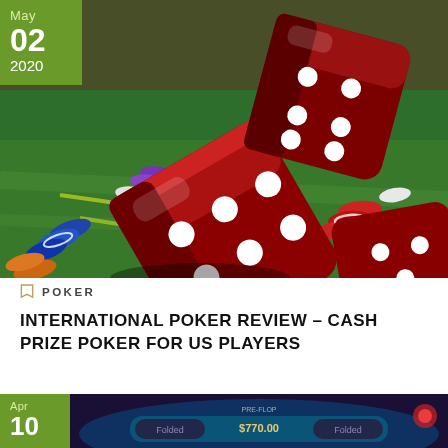[Figure (photo): Casino dice and poker chips on green felt table, with large red translucent dice in foreground and colorful chips in background]
May 02 2020
POKER
INTERNATIONAL POKER REVIEW – CASH PRIZE POKER FOR US PLAYERS
[Figure (screenshot): Online poker game interface showing Folded players and $770.00 pot, with Apr 10 2020 date badge]